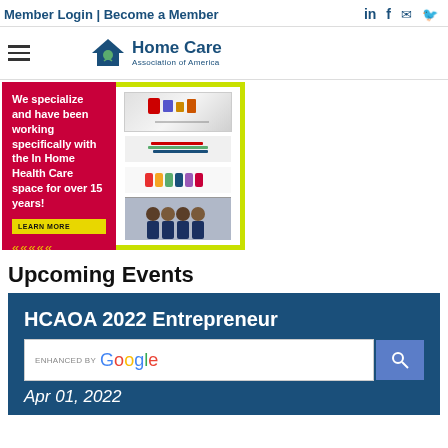Member Login | Become a Member
[Figure (logo): Home Care Association of America logo with house and leaf icon]
[Figure (infographic): Advertisement banner: red left panel with text 'We specialize and have been working specifically with the In Home Health Care space for over 15 years!' and LEARN MORE button, green/white right panel with medical product images and healthcare workers photo]
Upcoming Events
HCAOA 2022 Entrepreneur
Apr 01, 2022